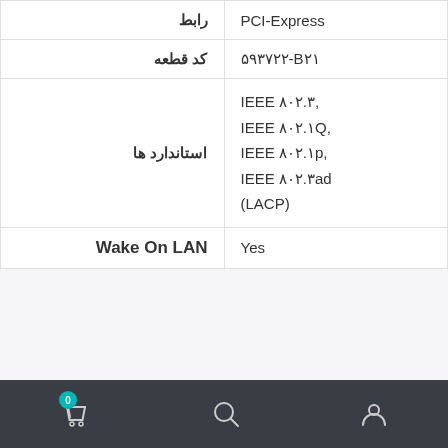| رابط | PCI-Express |
| --- | --- |
| کد قطعه | ۵۹۳۷۲۲-B۲۱ |
| استاندارد ها | IEEE ۸۰۲.۳,
IEEE ۸۰۲.۱Q,
IEEE ۸۰۲.۱p,
IEEE ۸۰۲.۳ad
(LACP) |
| Wake On LAN | Yes |
Features
VLAN support, wake on LAN (WOL), TCP/IP